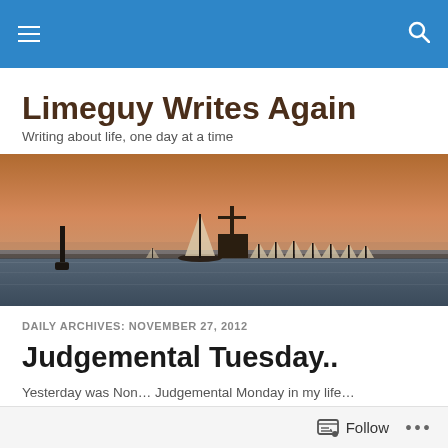Navigation bar with hamburger menu and search icon
Limeguy Writes Again
Writing about life, one day at a time
[Figure (photo): Sunset over ocean with sailboats silhouetted on the horizon, warm orange and pink sky]
DAILY ARCHIVES: NOVEMBER 27, 2012
Judgemental Tuesday..
Yesterday was Non… Judgemental Monday in my life…
Follow ...